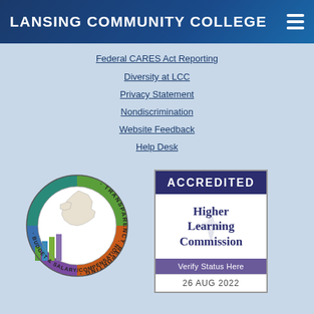LANSING COMMUNITY COLLEGE
Federal CARES Act Reporting
Diversity at LCC
Privacy Statement
Nondiscrimination
Website Feedback
Help Desk
[Figure (logo): Transparency Reporting - Budget & Salary/Compensation circular badge with Michigan state map and bar charts]
[Figure (logo): Higher Learning Commission Accredited badge with 'Verify Status Here' and date 26 AUG 2022]